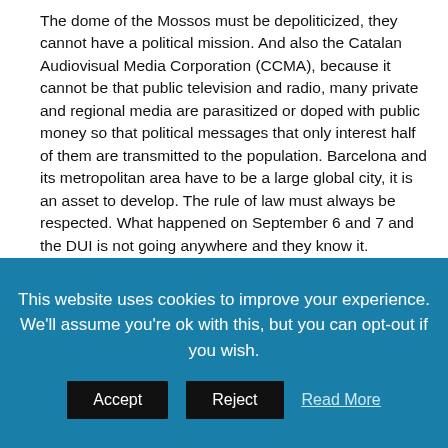The dome of the Mossos must be depoliticized, they cannot have a political mission. And also the Catalan Audiovisual Media Corporation (CCMA), because it cannot be that public television and radio, many private and regional media are parasitized or doped with public money so that political messages that only interest half of them are transmitted to the population. Barcelona and its metropolitan area have to be a large global city, it is an asset to develop. The rule of law must always be respected. What happened on September 6 and 7 and the DUI is not going anywhere and they know it.
-SCC urged the Court of Auditors to investigate the diversion of money towards the independence project. And it has proved you were right.
-They have used resources from all Catalans for that. If they do not
This website uses cookies to improve your experience. We'll assume you're ok with this, but you can opt-out if you wish.